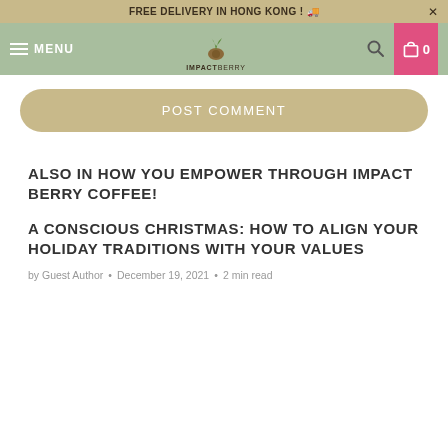FREE DELIVERY IN HONG KONG ! 🚚
MENU | IMPACT BERRY | 0
POST COMMENT
ALSO IN HOW YOU EMPOWER THROUGH IMPACT BERRY COFFEE!
A CONSCIOUS CHRISTMAS: HOW TO ALIGN YOUR HOLIDAY TRADITIONS WITH YOUR VALUES
by Guest Author • December 19, 2021 • 2 min read